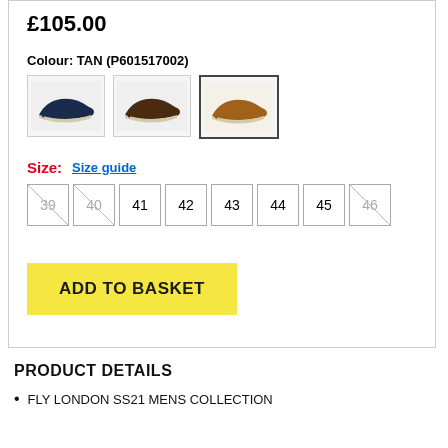£105.00
Colour: TAN (P601517002)
[Figure (photo): Three shoe color swatches: navy blue loafer, dark brown loafer, tan/caramel loafer (selected)]
Size:  Size guide
Size options: 39 (unavailable), 40 (unavailable), 41, 42, 43, 44, 45, 46 (unavailable)
ADD TO BASKET
PRODUCT DETAILS
FLY LONDON SS21 MENS COLLECTION